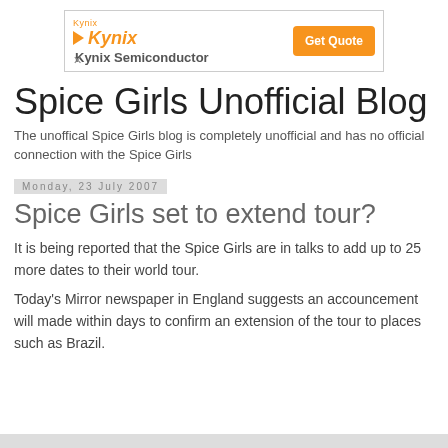[Figure (other): Kynix Semiconductor advertisement banner with orange logo, brand name, and orange 'Get Quote' button]
Spice Girls Unofficial Blog
The unoffical Spice Girls blog is completely unofficial and has no official connection with the Spice Girls
Monday, 23 July 2007
Spice Girls set to extend tour?
It is being reported that the Spice Girls are in talks to add up to 25 more dates to their world tour.
Today's Mirror newspaper in England suggests an accouncement will made within days to confirm an extension of the tour to places such as Brazil.